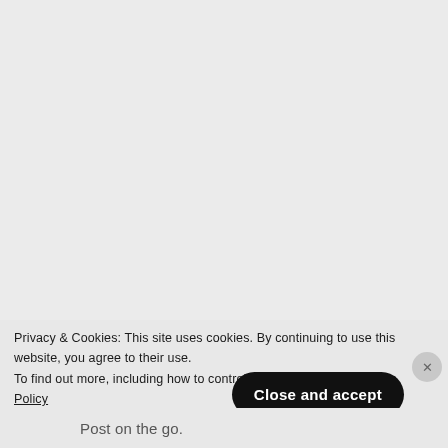[Figure (screenshot): Light grey blank content area occupying the upper portion of the page]
Privacy & Cookies: This site uses cookies. By continuing to use this website, you agree to their use. To find out more, including how to control cookies, see here: Cookie Policy
Close and accept
Post on the go.